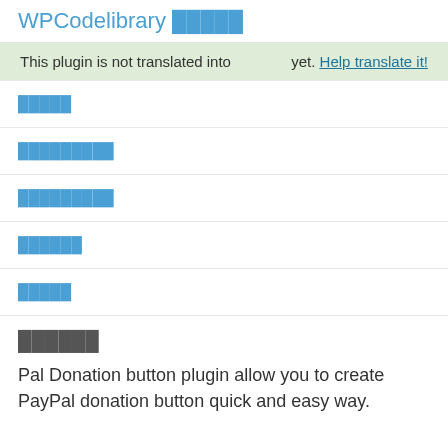WPCodelibrary █████
This plugin is not translated into     yet. Help translate it!
█████
█████████
█████████
██████
█████
██████
Pal Donation button plugin allow you to create PayPal donation button quick and easy way.